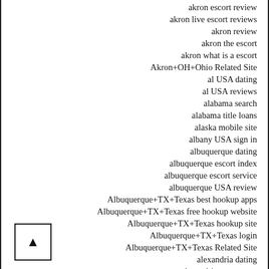akron escort review
akron live escort reviews
akron review
akron the escort
akron what is a escort
Akron+OH+Ohio Related Site
al USA dating
al USA reviews
alabama search
alabama title loans
alaska mobile site
albany USA sign in
albuquerque dating
albuquerque escort index
albuquerque escort service
albuquerque USA review
Albuquerque+TX+Texas best hookup apps
Albuquerque+TX+Texas free hookup website
Albuquerque+TX+Texas hookup site
Albuquerque+TX+Texas login
Albuquerque+TX+Texas Related Site
alexandria dating
alexandria eros escort
alexandria escort
alexandria escort service
alexandria escort sites
alexandria review
alexandria…